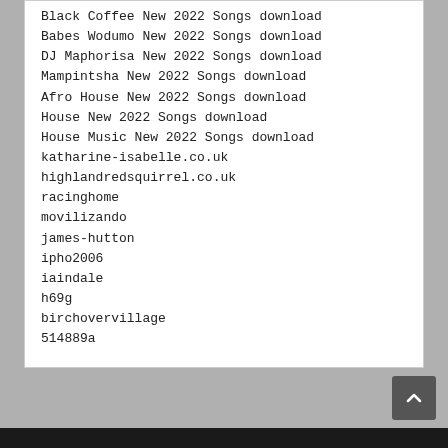Black Coffee New 2022 Songs download
Babes Wodumo New 2022 Songs download
DJ Maphorisa New 2022 Songs download
Mampintsha New 2022 Songs download
Afro House New 2022 Songs download
House New 2022 Songs download
House Music New 2022 Songs download
katharine-isabelle.co.uk
highlandredsquirrel.co.uk
racinghome
movilizando
james-hutton
ipho2006
iaindale
h69g
birchovervillage
514889a